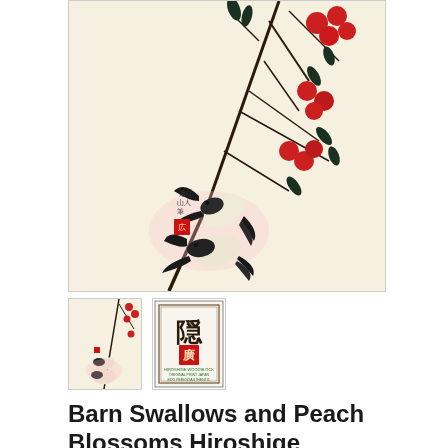[Figure (illustration): Japanese woodblock print showing barn swallows perched on a branch with red peach blossoms against a light beige background, with Japanese calligraphy and red seal stamp]
[Figure (illustration): Small thumbnail of the woodblock print showing swallows and peach blossoms]
[Figure (illustration): Small thumbnail showing the back of the print with a decorative label/seal with a red square and green text]
Barn Swallows and Peach Blossoms Hiroshige Woodblock Print